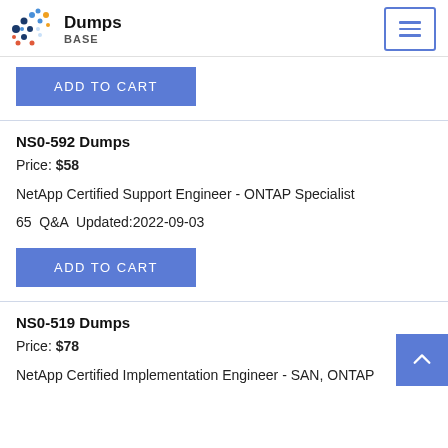Dumps BASE
ADD TO CART
NS0-592 Dumps
Price: $58
NetApp Certified Support Engineer - ONTAP Specialist
65  Q&A  Updated:2022-09-03
ADD TO CART
NS0-519 Dumps
Price: $78
NetApp Certified Implementation Engineer - SAN, ONTAP